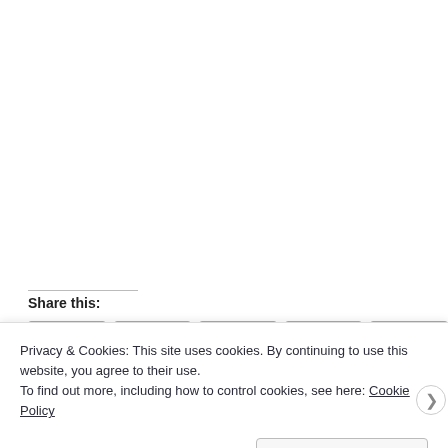Share this:
Privacy & Cookies: This site uses cookies. By continuing to use this website, you agree to their use.
To find out more, including how to control cookies, see here: Cookie Policy
Close and accept
WEBSITE.COM